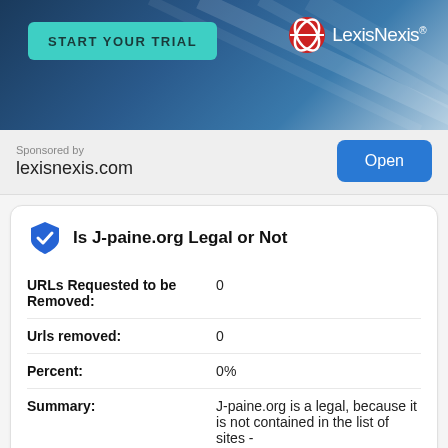[Figure (illustration): LexisNexis advertisement banner with teal 'START YOUR TRIAL' button and LexisNexis logo on dark blue gradient background with light diagonal lines]
Sponsored by
lexisnexis.com
Open
Is J-paine.org Legal or Not
| URLs Requested to be Removed: | 0 |
| Urls removed: | 0 |
| Percent: | 0% |
| Summary: | J-paine.org is a legal, because it is not contained in the list of sites - https://transpa... |
J-paine.org Visitors Localization